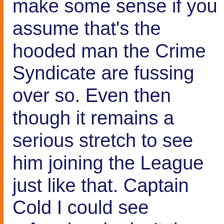make some sense if you assume that's the hooded man the Crime Syndicate are fussing over so. Even then though it remains a serious stretch to see him joining the League just like that. Captain Cold I could see reforming, he isn't the villain Luthor is, but reform takes time. And after all like Luthor Captain Cold has commitments elsewhere - the Roques and